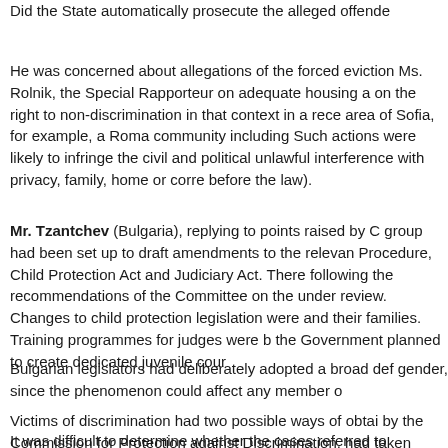Did the State automatically prosecute the alleged offende
He was concerned about allegations of the forced eviction Ms. Rolnik, the Special Rapporteur on adequate housing a on the right to non-discrimination in that context in a rece area of Sofia, for example, a Roma community including Such actions were likely to infringe the civil and political unlawful interference with privacy, family, home or corre before the law).
Mr. Tzantchev (Bulgaria), replying to points raised by C group had been set up to draft amendments to the relevan Procedure, Child Protection Act and Judiciary Act. There following the recommendations of the Committee on the under review. Changes to child protection legislation were and their families. Training programmes for judges were b the Government planned to create dedicated juvenile cour
Bulgarian legislators had deliberately adopted a broad def gender, since the phenomenon could affect any member o
Victims of discrimination had two possible ways of obtai by the Commission for Protection against Discrimination. had taken place, the victim could then pursue civil remedi
It was difficult to determine whether the cases referred to